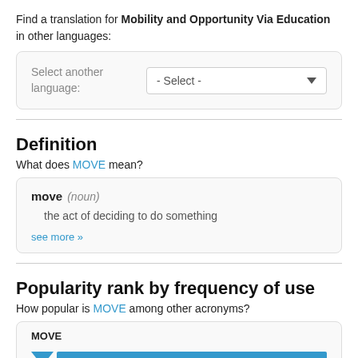Find a translation for Mobility and Opportunity Via Education in other languages:
[Figure (screenshot): A dropdown form with label 'Select another language:' and a select control showing '- Select -']
Definition
What does MOVE mean?
move (noun) the act of deciding to do something see more »
Popularity rank by frequency of use
How popular is MOVE among other acronyms?
[Figure (bar-chart): Popularity rank bar chart for MOVE, partially visible at bottom of page]